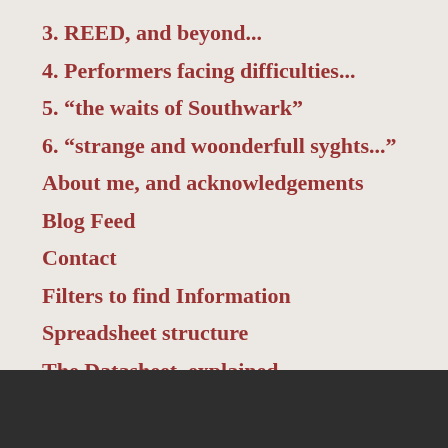3. REED, and beyond...
4. Performers facing difficulties...
5. “the waits of Southwark”
6. “strange and woonderfull syghts...”
About me, and acknowledgements
Blog Feed
Contact
Filters to find Information
Spreadsheet structure
The Datasheet, explained
Welcome to Performers without Patrons
[Figure (logo): WordPress logo icon in white on dark footer bar]